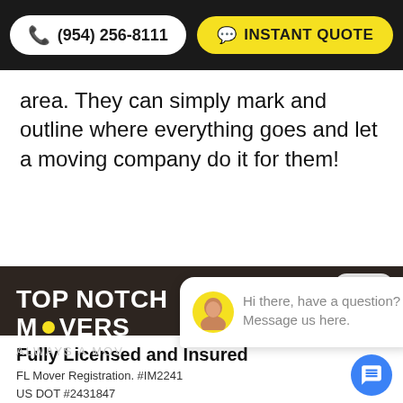(954) 256-8111  INSTANT QUOTE
area. They can simply mark and outline where everything goes and let a moving company do it for them!
[Figure (screenshot): Dark section with Top Notch Movers logo, a chat popup with avatar saying 'Hi there, have a question? Message us here.' and a close button, plus a bottom card showing Fully Licensed and Insured, FL Mover Registration. #IM2241, US DOT #2431847, and a blue chat button]